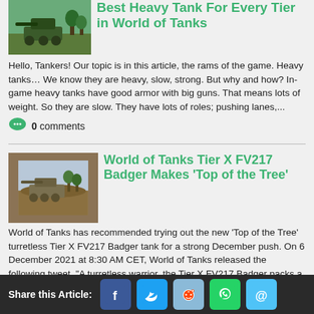Best Heavy Tank For Every Tier in World of Tanks
Hello, Tankers!  Our topic is in this article, the rams of the game. Heavy tanks… We know they are heavy, slow, strong. But why and how? In-game heavy tanks have good armor with big guns. That means lots of weight. So they are slow.  They have lots of roles; pushing lanes,...
0 comments
World of Tanks Tier X FV217 Badger Makes 'Top of the Tree'
World of Tanks has recommended trying out the new 'Top of the Tree' turretless Tier X FV217 Badger tank for a strong December push. On 6 December 2021 at 8:30 AM CET, World of Tanks released the following tweet, "A turretless warrior, the Tier X FV217 Badger packs a mighty 123 mm gun capable of...
0 comments
Share this Article: